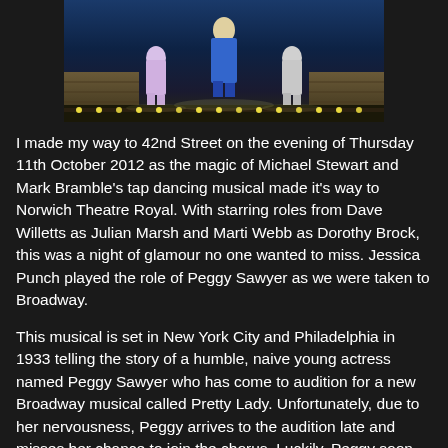[Figure (photo): Stage performance photo showing dancers in costume on a Broadway-style stage with steps and lights, one dancer in blue center stage, others in lighter costumes on sides.]
I made my way to 42nd Street on the evening of Thursday 11th October 2012 as the magic of Michael Stewart and Mark Bramble's tap dancing musical made it's way to Norwich Theatre Royal. With starring roles from Dave Willetts as Julian Marsh and Marti Webb as Dorothy Brock, this was a night of glamour no one wanted to miss. Jessica Punch played the role of Peggy Sawyer as we were taken to Broadway.
This musical is set in New York City and Philadelphia in 1933 telling the story of a humble, naive young actress named Peggy Sawyer who has come to audition for a new Broadway musical called Pretty Lady. Unfortunately, due to her nervousness, Peggy arrives to the audition late and misses her chance to join the chorus. Luckily, Peggy soon catches the eye of the famous director, Julian Marsh, and he gives Peggy her big break. However, the shows ageing leading lady, Dorothy Brock, quickly grows to dislike Peggy. Soon winning right Mr Brock falls and her leading b...